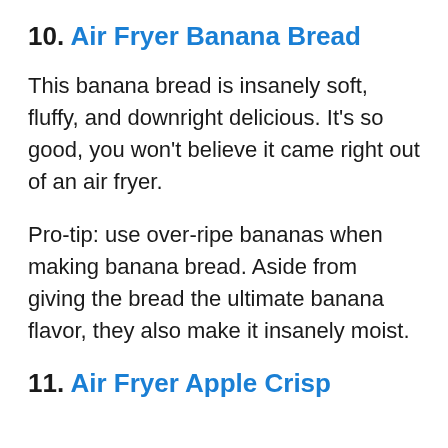10. Air Fryer Banana Bread
This banana bread is insanely soft, fluffy, and downright delicious. It’s so good, you won’t believe it came right out of an air fryer.
Pro-tip: use over-ripe bananas when making banana bread. Aside from giving the bread the ultimate banana flavor, they also make it insanely moist.
11. Air Fryer Apple Crisp